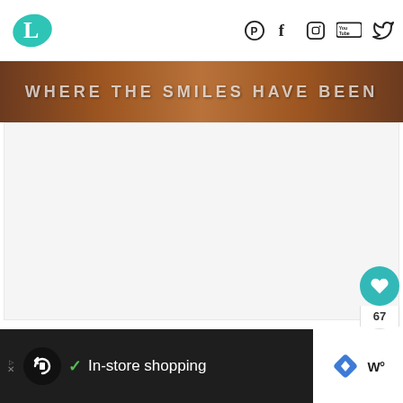Logo with social icons: Pinterest, Facebook, Instagram, YouTube, Twitter
[Figure (photo): Brown textured banner with text 'WHERE THE SMILES HAVE BEEN' in faded white uppercase letters]
[Figure (screenshot): White/light gray content area (main article area, mostly blank)]
[Figure (infographic): Floating action buttons on right side: teal heart button, count 67, share button]
67
[Figure (infographic): WHAT'S NEXT card with dog thumbnail and text 'DIY Animal Costumes fo...']
WHAT'S NEXT → DIY Animal Costumes fo...
[Figure (screenshot): Bottom ad bar with dark background showing loop/infinity logo and text: checkmark In-store shopping, with white panel on right showing diamond/navigation icon and Waze-style logo]